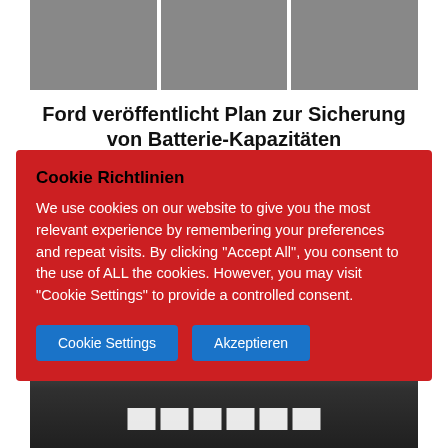[Figure (photo): Three industrial/facility photos in a horizontal strip at the top of the page]
Ford veröffentlicht Plan zur Sicherung von Batterie-Kapazitäten
Cookie Richtlinien
We use cookies on our website to give you the most relevant experience by remembering your preferences and repeat visits. By clicking "Accept All", you consent to the use of ALL the cookies. However, you may visit "Cookie Settings" to provide a controlled consent.
[Figure (photo): Black and white photo of a car on a road with a zebra crossing/pedestrian crossing in the foreground, taken from low angle]